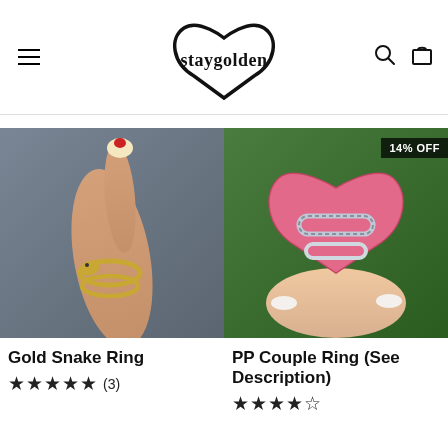staygolden
[Figure (photo): Gold snake ring worn on a hand with French tip nails with red detail, against a gray background]
Gold Snake Ring
★★★★★ (3)
[Figure (photo): Two silver rings displayed in a pink velvet heart-shaped ring box, held by a hand with white nails against a green leafy background. Badge reads 14% OFF.]
PP Couple Ring (See Description)
★★★★☆ (?)